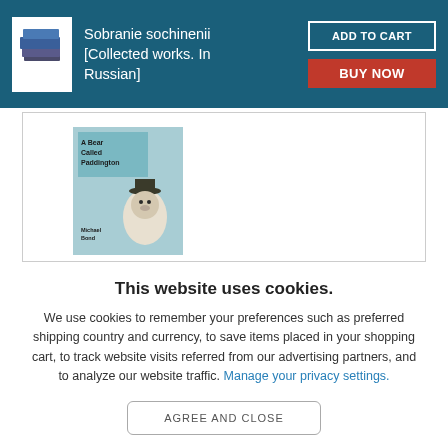Sobranie sochinenii [Collected works. In Russian]
[Figure (illustration): Book icon showing stacked books with blue cover, used as logo/thumbnail in header]
[Figure (photo): Book cover of 'A Bear Called Paddington' by Michael Bond, light blue cover with illustration of a bear wearing a hat]
This website uses cookies.
We use cookies to remember your preferences such as preferred shipping country and currency, to save items placed in your shopping cart, to track website visits referred from our advertising partners, and to analyze our website traffic. Manage your privacy settings.
AGREE AND CLOSE